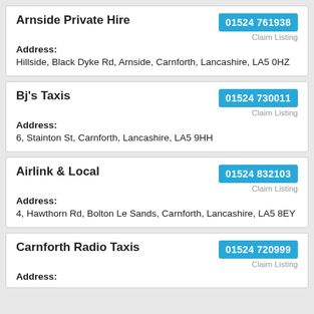Arnside Private Hire
01524 761938
Claim Listing
Address:
Hillside, Black Dyke Rd, Arnside, Carnforth, Lancashire, LA5 0HZ
Bj's Taxis
01524 730011
Claim Listing
Address:
6, Stainton St, Carnforth, Lancashire, LA5 9HH
Airlink & Local
01524 832103
Claim Listing
Address:
4, Hawthorn Rd, Bolton Le Sands, Carnforth, Lancashire, LA5 8EY
Carnforth Radio Taxis
01524 720999
Claim Listing
Address: